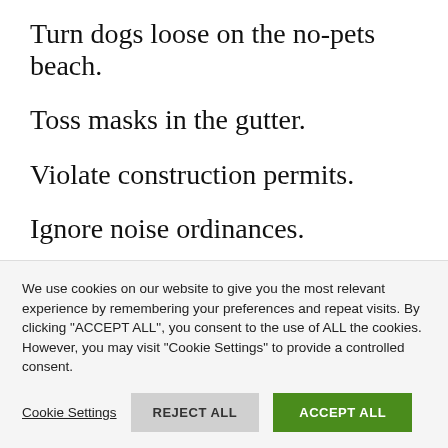Turn dogs loose on the no-pets beach.
Toss masks in the gutter.
Violate construction permits.
Ignore noise ordinances.
Park in bus lanes.
Camp along the streets.
We use cookies on our website to give you the most relevant experience by remembering your preferences and repeat visits. By clicking "ACCEPT ALL", you consent to the use of ALL the cookies. However, you may visit "Cookie Settings" to provide a controlled consent.